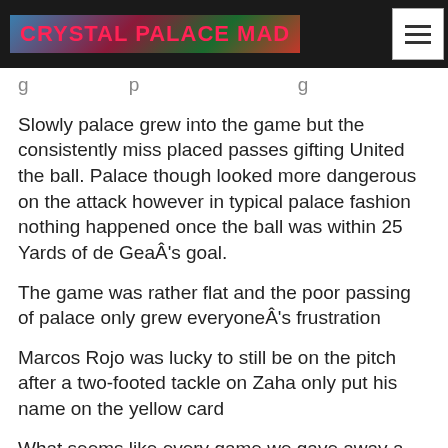Crystal Palace Mad
Slowly palace grew into the game but the consistently miss placed passes gifting United the ball. Palace though looked more dangerous on the attack however in typical palace fashion nothing happened once the ball was within 25 Yards of de GeaÂ's goal.
The game was rather flat and the poor passing of palace only grew everyoneÂ's frustration
Marcos Rojo was lucky to still be on the pitch after a two-footed tackle on Zaha only put his name on the yellow card
What seems like every game we gave away a silly foul at the dying moments of the first half
Which gave United the lead with a scrappy finish from the